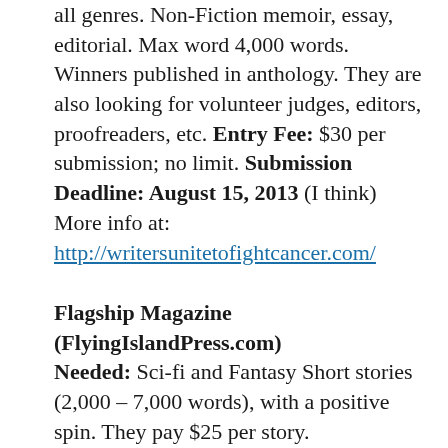all genres. Non-Fiction memoir, essay, editorial. Max word 4,000 words. Winners published in anthology. They are also looking for volunteer judges, editors, proofreaders, etc. Entry Fee: $30 per submission; no limit. Submission Deadline: August 15, 2013 (I think) More info at: http://writersunitetofightcancer.com/
Flagship Magazine (FlyingIslandPress.com) Needed: Sci-fi and Fantasy Short stories (2,000 – 7,000 words), with a positive spin. They pay $25 per story. Submission deadline: Ongoing More info at: http://flyingislandpress.com/submission-